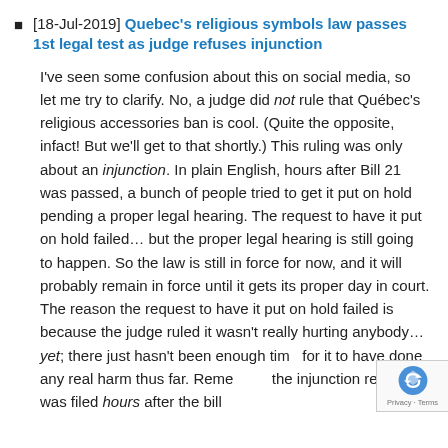[18-Jul-2019] Quebec's religious symbols law passes 1st legal test as judge refuses injunction
I've seen some confusion about this on social media, so let me try to clarify. No, a judge did not rule that Québec's religious accessories ban is cool. (Quite the opposite, infact! But we'll get to that shortly.) This ruling was only about an injunction. In plain English, hours after Bill 21 was passed, a bunch of people tried to get it put on hold pending a proper legal hearing. The request to have it put on hold failed… but the proper legal hearing is still going to happen. So the law is still in force for now, and it will probably remain in force until it gets its proper day in court. The reason the request to have it put on hold failed is because the judge ruled it wasn't really hurting anybody… yet; there just hasn't been enough time for it to have done any real harm thus far. Remember the injunction request was filed hours after the bill